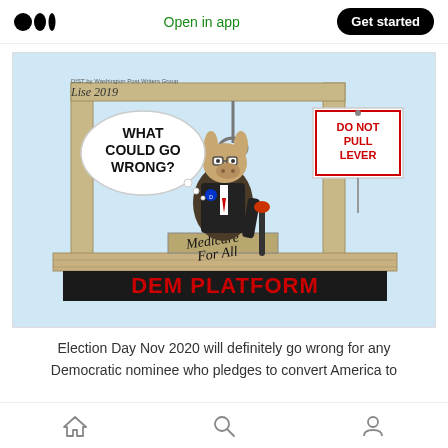Open in app | Get started
[Figure (illustration): Political cartoon showing a donkey (Democratic mascot) in a suit standing on a gallows platform labeled 'DEM PLATFORM' with a noose around its neck, holding a lever. A sign reads 'DO NOT PULL LEVER'. A thought bubble says 'WHAT COULD GO WRONG?' The trapdoor on the gallows is labeled 'Medicare For All'. Artist signature reads 'Lise 2019' and 'DIST by Washington Post Writers Group'.]
Election Day Nov 2020 will definitely go wrong for any Democratic nominee who pledges to convert America to
Home | Search | Profile